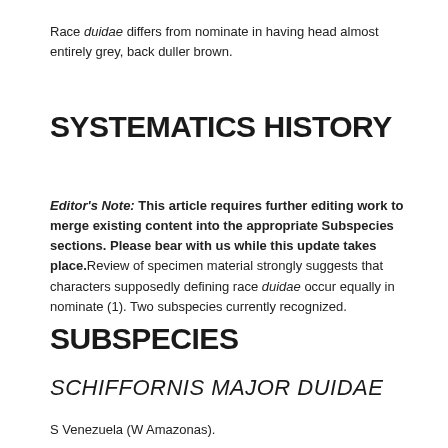Race duidae differs from nominate in having head almost entirely grey, back duller brown.
SYSTEMATICS HISTORY
Editor's Note: This article requires further editing work to merge existing content into the appropriate Subspecies sections. Please bear with us while this update takes place. Review of specimen material strongly suggests that characters supposedly defining race duidae occur equally in nominate (1). Two subspecies currently recognized.
SUBSPECIES
SCHIFFORNIS MAJOR DUIDAE
S Venezuela (W Amazonas).